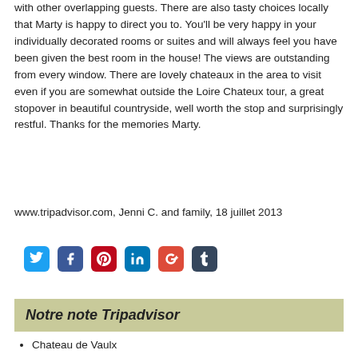with other overlapping guests. There are also tasty choices locally that Marty is happy to direct you to. You'll be very happy in your individually decorated rooms or suites and will always feel you have been given the best room in the house! The views are outstanding from every window. There are lovely chateaux in the area to visit even if you are somewhat outside the Loire Chateux tour, a great stopover in beautiful countryside, well worth the stop and surprisingly restful. Thanks for the memories Marty.
www.tripadvisor.com, Jenni C. and family, 18 juillet 2013
[Figure (infographic): Row of social media icons: Twitter (blue), Facebook (dark blue), Pinterest (red), LinkedIn (blue), Google+ (red), Tumblr (dark blue)]
Notre note Tripadvisor
Chateau de Vaulx